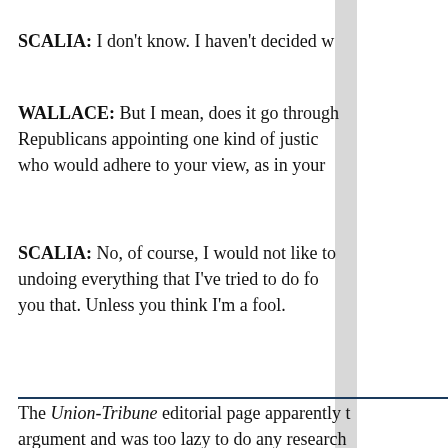SCALIA: I don't know. I haven't decided w
WALLACE: But I mean, does it go through Republicans appointing one kind of justice who would adhere to your view, as in your
SCALIA: No, of course, I would not like to undoing everything that I've tried to do fo you that. Unless you think I'm a fool.
The Union-Tribune editorial page apparently t argument and was too lazy to do any research otherwise, would take.
It's over.